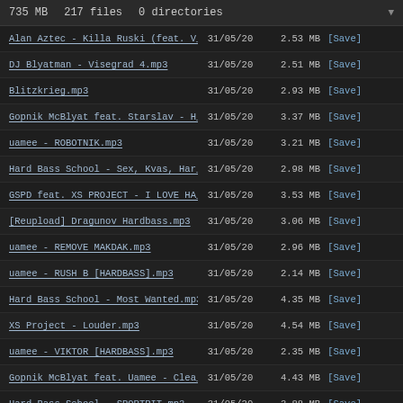735 MB   217 files   0 directories
| Filename | Date | Size | Action |
| --- | --- | --- | --- |
| Alan Aztec - Killa Ruski (feat. V_ | 31/05/20 | 2.53 MB | [Save] |
| DJ Blyatman - Visegrad 4.mp3 | 31/05/20 | 2.51 MB | [Save] |
| Blitzkrieg.mp3 | 31/05/20 | 2.93 MB | [Save] |
| Gopnik McBlyat feat. Starslav - H_ | 31/05/20 | 3.37 MB | [Save] |
| uamee - ROBOTNIK.mp3 | 31/05/20 | 3.21 MB | [Save] |
| Hard Bass School - Sex, Kvas, Har_ | 31/05/20 | 2.98 MB | [Save] |
| GSPD feat. XS PROJECT - I LOVE HA_ | 31/05/20 | 3.53 MB | [Save] |
| [Reupload] Dragunov Hardbass.mp3 | 31/05/20 | 3.06 MB | [Save] |
| uamee - REMOVE MAKDAK.mp3 | 31/05/20 | 2.96 MB | [Save] |
| uamee - RUSH B [HARDBASS].mp3 | 31/05/20 | 2.14 MB | [Save] |
| Hard Bass School - Most Wanted.mp3 | 31/05/20 | 4.35 MB | [Save] |
| XS Project - Louder.mp3 | 31/05/20 | 4.54 MB | [Save] |
| uamee - VIKTOR [HARDBASS].mp3 | 31/05/20 | 2.35 MB | [Save] |
| Gopnik McBlyat feat. Uamee - Clea_ | 31/05/20 | 4.43 MB | [Save] |
| Hard Bass School - SPORTPIT.mp3 | 31/05/20 | 3.88 MB | [Save] |
| uamee - MAKAROV.mp3 | 31/05/20 | 2.71 MB | [Save] |
| Moonraker.mp3 | 31/05/20 | 3.05 MB | [Save] |